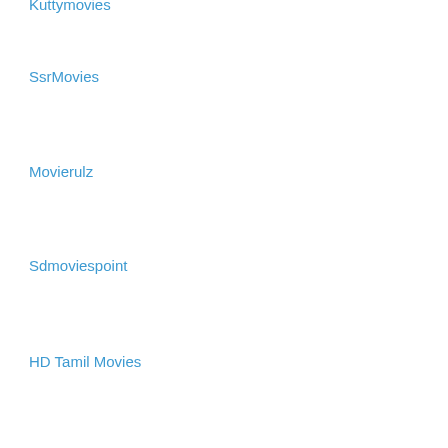Kuttymovies
SsrMovies
Movierulz
Sdmoviespoint
HD Tamil Movies
xmovies8
Yomovies
9xmovies
Telugu Wap Net
Filmyzilla
Mp4moviez
RARBG